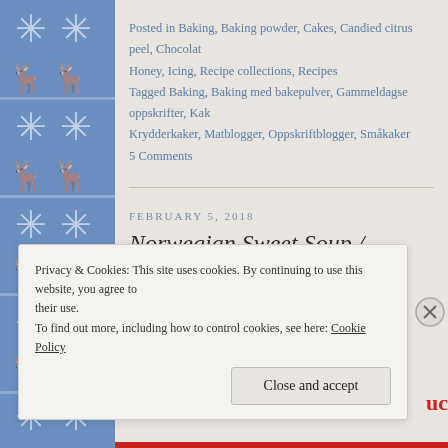[Figure (illustration): Blue Nordic/Norwegian decorative pattern sidebar with reindeer, snowflakes, and traditional folk art motifs in white on blue background]
Posted in Baking, Baking powder, Cakes, Candied citrus peel, Chocolate, Honey, Icing, Recipe collections, Recipes
Tagged Baking, Baking med bakepulver, Gammeldagse oppskrifter, Kaker, Krydderkaker, Matblogger, Oppskriftblogger, Småkaker
5 Comments
FEBRUARY 5, 2018
Norwegian Sweet Soup / Sølsuppe
Privacy & Cookies: This site uses cookies. By continuing to use this website, you agree to their use. To find out more, including how to control cookies, see here: Cookie Policy
Close and accept